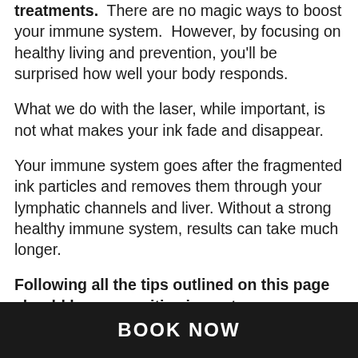system, and how it responds to your treatments. There are no magic ways to boost your immune system. However, by focusing on healthy living and prevention, you'll be surprised how well your body responds.
What we do with the laser, while important, is not what makes your ink fade and disappear.
Your immune system goes after the fragmented ink particles and removes them through your lymphatic channels and liver. Without a strong healthy immune system, results can take much longer.
Following all the tips outlined on this page should have a positive impact on your results.
BOOK NOW